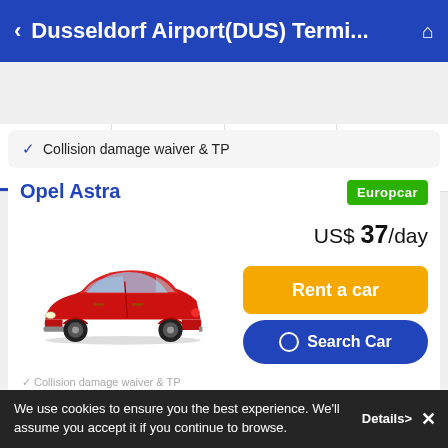Dusseldorf Airport(DUS) Termi...
Rental Locations | Review | Good to Know | Policy
✓ Collision damage waiver & TP
Opel Astra
[Figure (photo): Red Opel Astra hatchback car]
US$ 37/day
Rent a car
Search Car
We use cookies to ensure you the best experience. We'll assume you accept it if you continue to browse. Details>